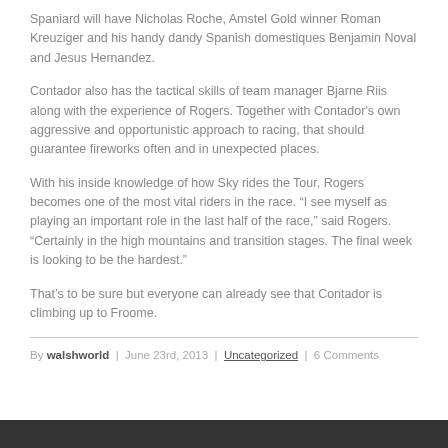Spaniard will have Nicholas Roche, Amstel Gold winner Roman Kreuziger and his handy dandy Spanish domestiques Benjamin Noval and Jesus Hernandez.
Contador also has the tactical skills of team manager Bjarne Riis along with the experience of Rogers. Together with Contador's own aggressive and opportunistic approach to racing, that should guarantee fireworks often and in unexpected places.
With his inside knowledge of how Sky rides the Tour, Rogers becomes one of the most vital riders in the race. “I see myself as playing an important role in the last half of the race,” said Rogers. “Certainly in the high mountains and transition stages. The final week is looking to be the hardest.”
That’s to be sure but everyone can already see that Contador is climbing up to Froome.
By walshworld | June 23rd, 2013 | Uncategorized | 6 Comments